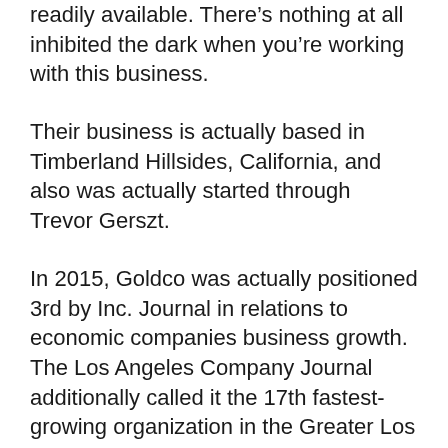readily available. There's nothing at all inhibited the dark when you're working with this business.
Their business is actually based in Timberland Hillsides, California, and also was actually started through Trevor Gerszt.
In 2015, Goldco was actually positioned 3rd by Inc. Journal in relations to economic companies business growth. The Los Angeles Company Journal additionally called it the 17th fastest-growing organization in the Greater Los Angeles area.
Services They Offer
Goldco's pair of principal solutions are actually precious metal IRAs along with